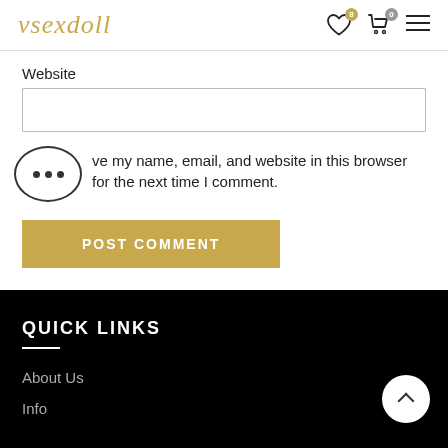vsexdoll
Website
Save my name, email, and website in this browser for the next time I comment.
POST COMMENT
QUICK LINKS
About Us
Info